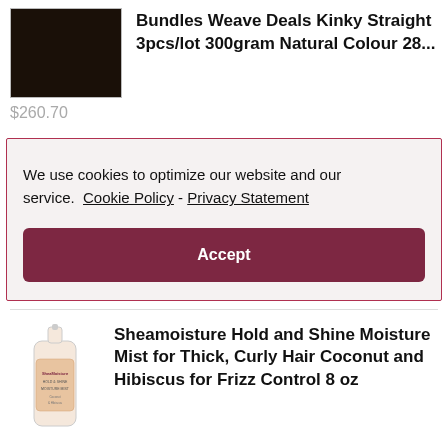[Figure (photo): Dark brown/black hair bundle product image]
Bundles Weave Deals Kinky Straight 3pcs/lot 300gram Natural Colour 28...
$260.70
We use cookies to optimize our website and our service.  Cookie Policy - Privacy Statement
Accept
[Figure (photo): SheaMoisture Hold and Shine Moisture Mist bottle]
Sheamoisture Hold and Shine Moisture Mist for Thick, Curly Hair Coconut and Hibiscus for Frizz Control 8 oz